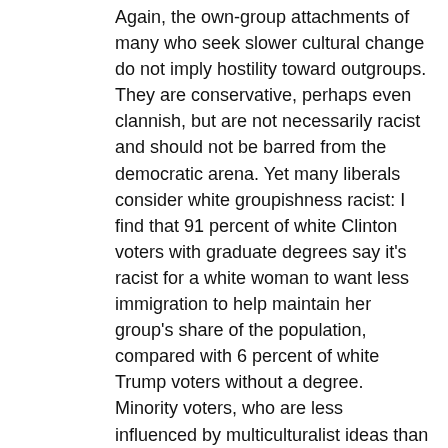Again, the own-group attachments of many who seek slower cultural change do not imply hostility toward outgroups. They are conservative, perhaps even clannish, but are not necessarily racist and should not be barred from the democratic arena. Yet many liberals consider white groupishness racist: I find that 91 percent of white Clinton voters with graduate degrees say it's racist for a white woman to want less immigration to help maintain her group's share of the population, compared with 6 percent of white Trump voters without a degree. Minority voters, who are less influenced by multiculturalist ideas than are white liberals, lie in between, at 45 percent, while the American average is 36 percent.
That is correct. White and Jewish liberals tend to say that it is racist and white supremacist for whites to want less non-white immigration. But in fact wanting such immigration limits is not necessarily based on any animosity towards any ethnic group.